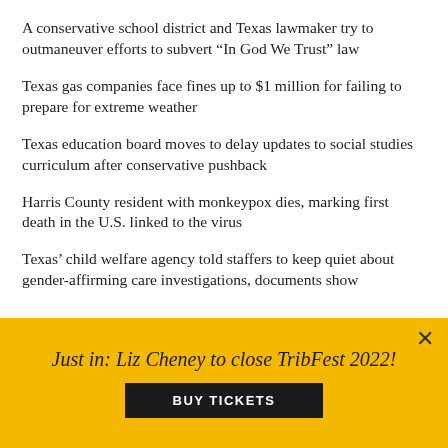A conservative school district and Texas lawmaker try to outmaneuver efforts to subvert “In God We Trust” law
Texas gas companies face fines up to $1 million for failing to prepare for extreme weather
Texas education board moves to delay updates to social studies curriculum after conservative pushback
Harris County resident with monkeypox dies, marking first death in the U.S. linked to the virus
Texas’ child welfare agency told staffers to keep quiet about gender-affirming care investigations, documents show
[Figure (screenshot): Dark advertisement banner showing text 'WANT TO LOOK INTO THE...' with a building tower on the right side]
Just in: Liz Cheney to close TribFest 2022!
BUY TICKETS